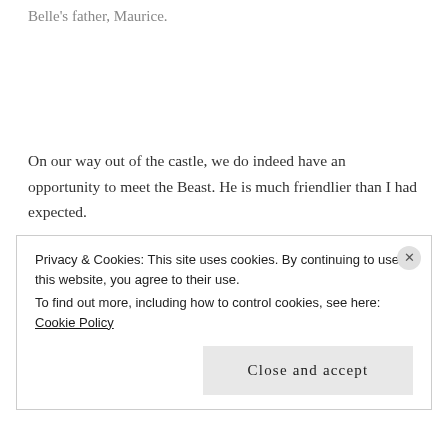Belle's father, Maurice.
On our way out of the castle, we do indeed have an opportunity to meet the Beast. He is much friendlier than I had expected.
We head to the Haunted Mansion after dinner. This will be my first time on this ride since I was 14 years old. It is all I remember and more, thanks to various
Privacy & Cookies: This site uses cookies. By continuing to use this website, you agree to their use.
To find out more, including how to control cookies, see here: Cookie Policy
Close and accept